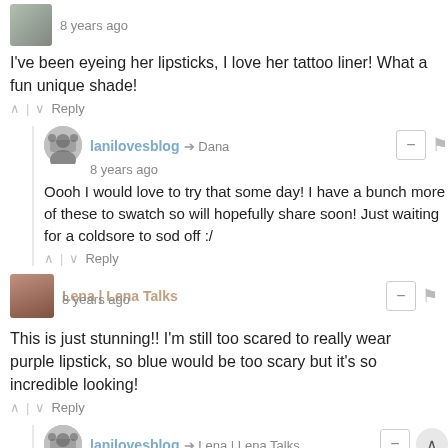8 years ago
I've been eyeing her lipsticks, I love her tattoo liner! What a fun unique shade!
Reply
lanilovesblog → Dana
8 years ago
Oooh I would love to try that some day! I have a bunch more of these to swatch so will hopefully share soon! Just waiting for a coldsore to sod off :/
Reply
Lena | Lena Talks
8 years ago
This is just stunning!! I'm still too scared to really wear purple lipstick, so blue would be too scary but it's so incredible looking!
Reply
lanilovesblog → Lena | Lena Talks
8 years ago
Purple would look amazing on you! I dare you to wear it :D